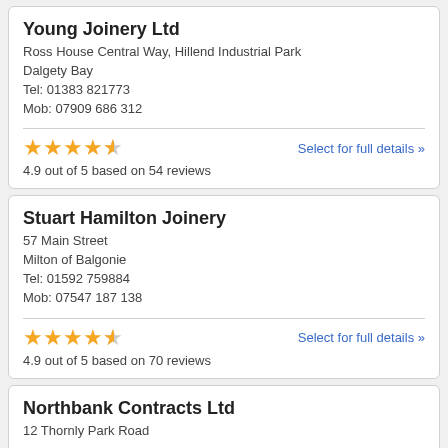Young Joinery Ltd
Ross House Central Way, Hillend Industrial Park
Dalgety Bay
Tel: 01383 821773
Mob: 07909 686 312
4.9 out of 5 based on 54 reviews
Select for full details »
Stuart Hamilton Joinery
57 Main Street
Milton of Balgonie
Tel: 01592 759884
Mob: 07547 187 138
4.9 out of 5 based on 70 reviews
Select for full details »
Northbank Contracts Ltd
12 Thornly Park Road